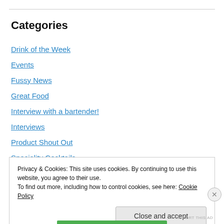Categories
Drink of the Week
Events
Fussy News
Great Food
Interview with a bartender!
Interviews
Product Shout Out
Speciality Cocktails
Uncategorized
Privacy & Cookies: This site uses cookies. By continuing to use this website, you agree to their use.
To find out more, including how to control cookies, see here: Cookie Policy